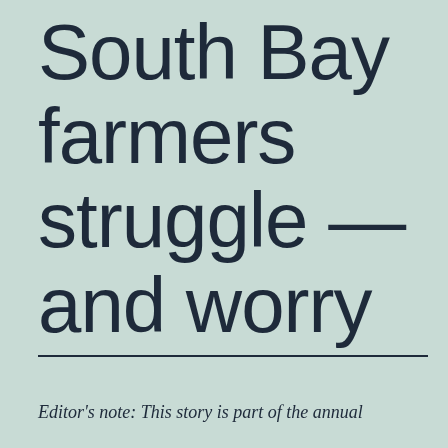South Bay farmers struggle — and worry
Editor's note: This story is part of the annual